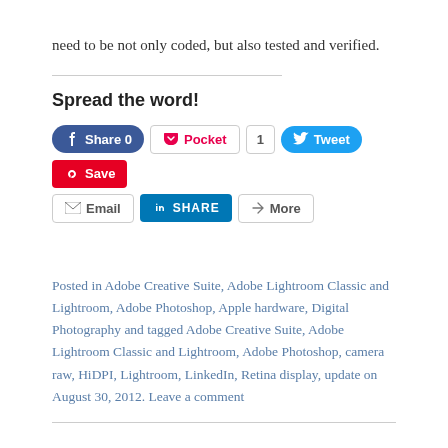need to be not only coded, but also tested and verified.
Spread the word!
[Figure (screenshot): Social share buttons row 1: Facebook Share 0, Pocket with count 1, Tweet, Pinterest Save]
[Figure (screenshot): Social share buttons row 2: Email, LinkedIn SHARE, More]
Posted in Adobe Creative Suite, Adobe Lightroom Classic and Lightroom, Adobe Photoshop, Apple hardware, Digital Photography and tagged Adobe Creative Suite, Adobe Lightroom Classic and Lightroom, Adobe Photoshop, camera raw, HiDPI, Lightroom, LinkedIn, Retina display, update on August 30, 2012. Leave a comment